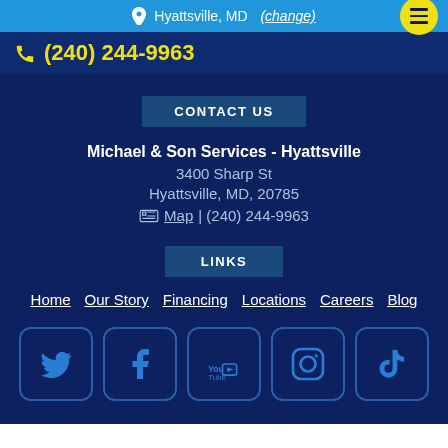Hyattsville, MD (change)
(240) 244-9963
CONTACT US
Michael & Son Services - Hyattsville
3400 Sharp St
Hyattsville, MD, 20785
Map | (240) 244-9963
LINKS
Home
Our Story
Financing
Locations
Careers
Blog
[Figure (other): Social media icons: Twitter, Facebook, YouTube, Instagram, TikTok]